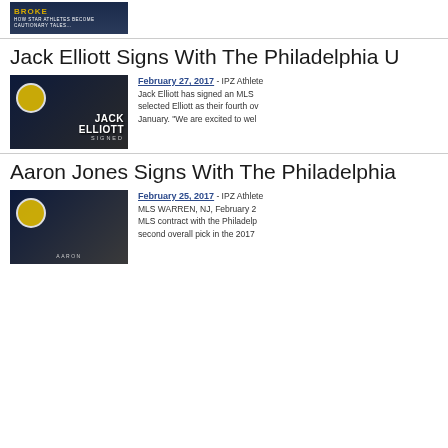[Figure (photo): Top partial book/image thumbnail showing text 'HOW STAR ATHLETES BECOME CAUTIONARY TALES']
Jack Elliott Signs With The Philadelphia U
[Figure (photo): Jack Elliott signed announcement image with Philadelphia Union badge]
February 27, 2017 - IPZ Athlete... Jack Elliott has signed an MLS selected Elliott as their fourth ov January. "We are excited to wel
Aaron Jones Signs With The Philadelphia
[Figure (photo): Aaron Jones signed announcement image with Philadelphia Union badge]
February 25, 2017 - IPZ Athlete... MLS WARREN, NJ, February 2 MLS contract with the Philadelp second overall pick in the 2017